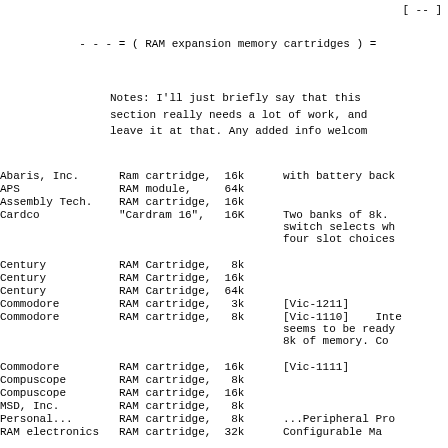[ -- ]
- - - = ( RAM expansion memory cartridges ) =
Notes: I'll just briefly say that this section really needs a lot of work, and leave it at that. Any added info welcom
| Company | Product | Notes |
| --- | --- | --- |
| Abaris, Inc. | Ram cartridge,  16k | with battery back |
| APS | RAM module,      64k |  |
| Assembly Tech. | RAM cartridge,  16k |  |
| Cardco | "Cardram 16",   16K | Two banks of 8k. switch selects wh four slot choices |
| Century | RAM Cartridge,   8k |  |
| Century | RAM Cartridge,  16k |  |
| Century | RAM Cartridge,  64k |  |
| Commodore | RAM cartridge,   3k | [Vic-1211] |
| Commodore | RAM cartridge,   8k | [Vic-1110]    Inte seems to be ready 8k of memory. Co |
| Commodore | RAM cartridge,  16k | [Vic-1111] |
| Compuscope | RAM cartridge,   8k |  |
| Compuscope | RAM cartridge,  16k |  |
| MSD, Inc. | RAM cartridge,   8k |  |
| Personal... | RAM cartridge,   8k | ...Peripheral Pro |
| RAM electronics | RAM cartridge,  32k | Configurable Ma |